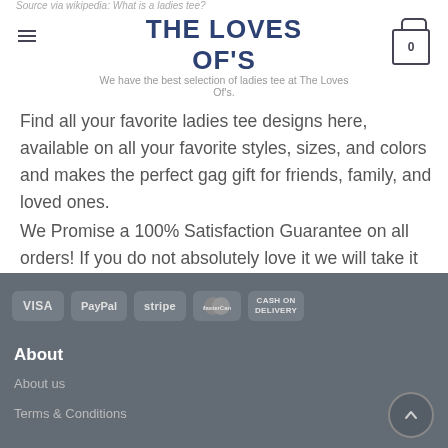Source via wikipedia: What is a ladies tee?
THE LOVES OF'S
We have the best selection of ladies tee at The Loves Of's.
Find all your favorite ladies tee designs here, available on all your favorite styles, sizes, and colors and makes the perfect gag gift for friends, family, and loved ones.
We Promise a 100% Satisfaction Guarantee on all orders! If you do not absolutely love it we will take it back.
[Figure (infographic): Payment method badges: VISA, PayPal, stripe, MasterCard, CASH ON DELIVERY]
About
About us
Terms & Conditions